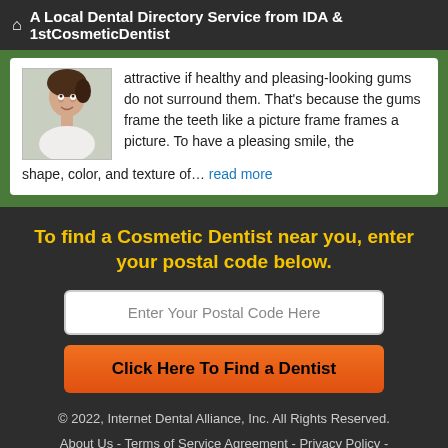A Local Dental Directory Service from IDA & 1stCosmeticDentist
attractive if healthy and pleasing-looking gums do not surround them. That's because the gums frame the teeth like a picture frame frames a picture. To have a pleasing smile, the shape, color, and texture of... read more
To find a Cosmetic Dentist near you, enter your postal code below.
Enter Your Postal Code Here
Click Here To Find a Dentist
© 2022, Internet Dental Alliance, Inc. All Rights Reserved. About Us - Terms of Service Agreement - Privacy Policy - Accessibility Statement - Doctor Registration